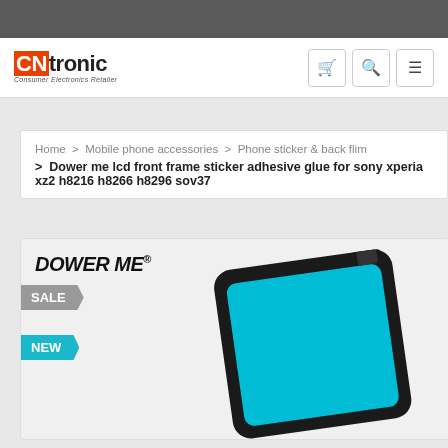[Figure (logo): CNtronic Consumer Electronics Retailer logo]
Home > Mobile phone accessories > Phone sticker & back flim > Dower me lcd front frame sticker adhesive glue for sony xperia xz2 h8216 h8266 h8296 sov37
[Figure (photo): Product image of LCD front frame sticker adhesive glue with DOWER ME brand label and SALE/NEW badges, showing a blue rectangular adhesive frame piece for Sony Xperia XZ2]